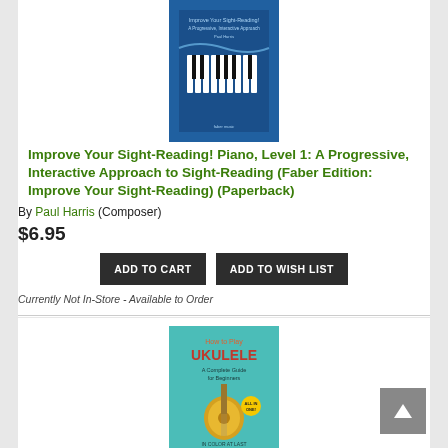[Figure (photo): Book cover of Improve Your Sight-Reading! Piano, Level 1 by Paul Harris — blue cover with piano keys]
Improve Your Sight-Reading! Piano, Level 1: A Progressive, Interactive Approach to Sight-Reading (Faber Edition: Improve Your Sight-Reading) (Paperback)
By Paul Harris (Composer)
$6.95
ADD TO CART
ADD TO WISH LIST
Currently Not In-Store - Available to Order
[Figure (photo): Book cover of How to Play Ukulele: A Complete Guide for Beginners — teal cover with ukulele illustration]